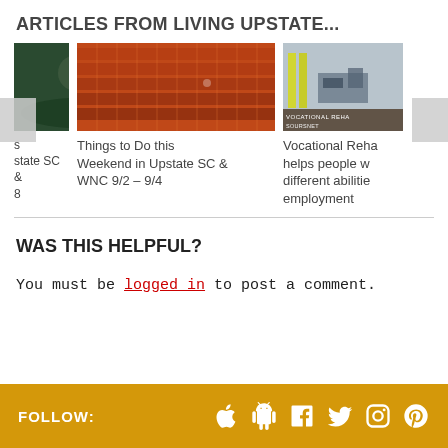ARTICLES FROM LIVING UPSTATE...
[Figure (photo): Three article thumbnails in a carousel: a concert crowd, red theater seats, and a vocational rehabilitation image. Navigation arrows on left and right sides.]
state SC &
8
Things to Do this Weekend in Upstate SC & WNC 9/2 – 9/4
Vocational Reha helps people w different abilitie employment
WAS THIS HELPFUL?
You must be logged in to post a comment.
FOLLOW: